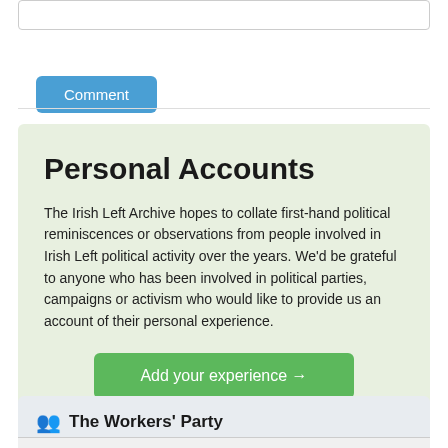[Figure (screenshot): Input text box at top of page]
Comment
Personal Accounts
The Irish Left Archive hopes to collate first-hand political reminiscences or observations from people involved in Irish Left political activity over the years. We'd be grateful to anyone who has been involved in political parties, campaigns or activism who would like to provide us an account of their personal experience.
Add your experience →
👥 The Workers' Party